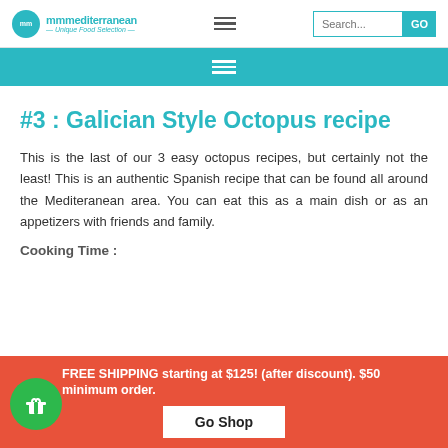mmmediterranean - Unique Food Selection -
#3 : Galician Style Octopus recipe
This is the last of our 3 easy octopus recipes, but certainly not the least! This is an authentic Spanish recipe that can be found all around the Mediteranean area. You can eat this as a main dish or as an appetizers with friends and family.
Cooking Time :
FREE SHIPPING starting at $125! (after discount). $50 minimum order.